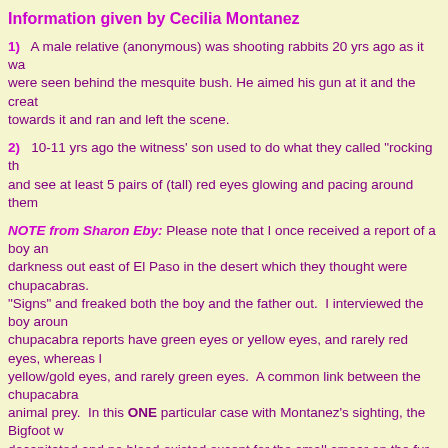Information given by Cecilia Montanez
1)  A male relative (anonymous) was shooting rabbits 20 yrs ago as it wa... were seen behind the mesquite bush. He aimed his gun at it and the creat... towards it and ran and left the scene.
2)  10-11 yrs ago the witness' son used to do what they called "rocking th... and see at least 5 pairs of (tall) red eyes glowing and pacing around them...
NOTE from Sharon Eby: Please note that I once received a report of a boy an... darkness out east of El Paso in the desert which they thought were chupacabras. "Signs" and freaked both the boy and the father out. I interviewed the boy aroun... chupacabra reports have green eyes or yellow eyes, and rarely red eyes, whereas ... yellow/gold eyes, and rarely green eyes. A common link between the chupacabra... animal prey. In this ONE particular case with Montanez's sighting, the Bigfoot w... decapitated and no blood existed except for the small smear on the fur, but NO Bl... occurence in the coyote, or stumbled upon it is anyone's guess.
3)  In NE El Paso at the Shrine, some friends of the the witness (couple f... ('02)) saw red eyes glowing down the embankment of the edge of the Fra...
4)  A local Judge (or a friend of his?) saw, when jogging behind the Cadil... kill the manager of the bar. Creature ran upright (may be at night after clos...
5)  On Pebble Hills/Yarbrough streets in El Paso (witness lived on Yarwo... eyes behind a bush, then an "ape" ran out and went up the street towards... (Biggs Field) years ago before loop 375 was built.